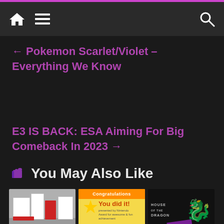Navigation bar with home, menu, and search icons
← Pokemon Scarlet/Violet – Everything We Know
E3 IS BACK: ESA Aiming For Big Comeback In 2023 →
👍 You May Also Like
[Figure (photo): Nintendo booth/display kiosks in white and red]
[Figure (photo): Congratulations certificate with cartoon character saying You did it!]
[Figure (photo): House of the Dragon title card with dragon emblem]
Nintendo
Nintendo
House of the